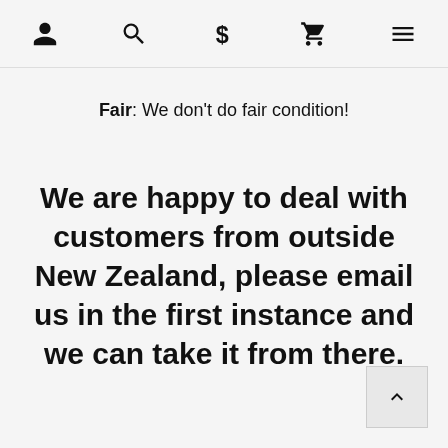Navigation bar with person, search, dollar, cart, and menu icons
Fair: We don't do fair condition!
We are happy to deal with customers from outside New Zealand, please email us in the first instance and we can take it from there.